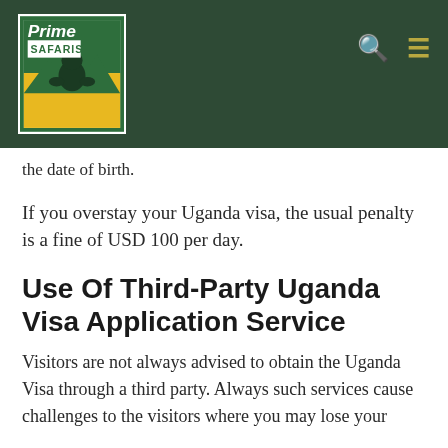[Figure (logo): Prime Safaris logo: green and yellow/gold logo with a gorilla silhouette and mountain background, company name 'Prime SAFARIS' in green and white text]
the date of birth.
If you overstay your Uganda visa, the usual penalty is a fine of USD 100 per day.
Use Of Third-Party Uganda Visa Application Service
Visitors are not always advised to obtain the Uganda Visa through a third party. Always such services cause challenges to the visitors where you may lose your